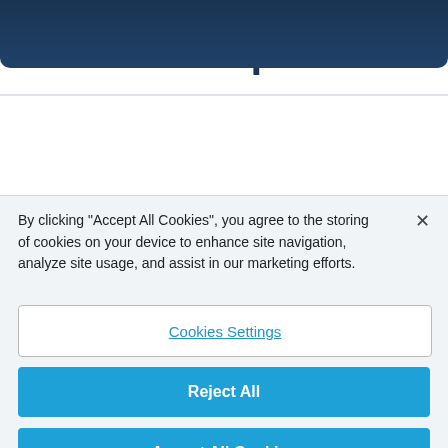[Figure (photo): Dark navy blue image/banner at the top of the page]
Related posts
By clicking “Accept All Cookies”, you agree to the storing of cookies on your device to enhance site navigation, analyze site usage, and assist in our marketing efforts.
Cookies Settings
Reject All
Accept All Cookies